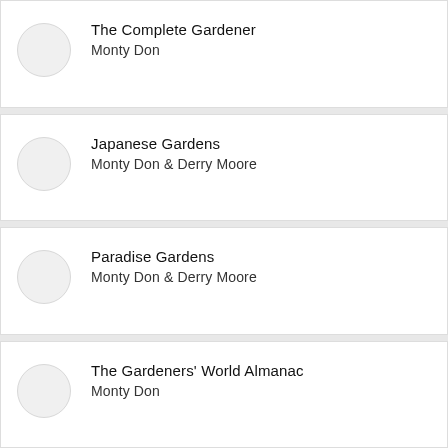The Complete Gardener
Monty Don
Japanese Gardens
Monty Don & Derry Moore
Paradise Gardens
Monty Don & Derry Moore
The Gardeners' World Almanac
Monty Don